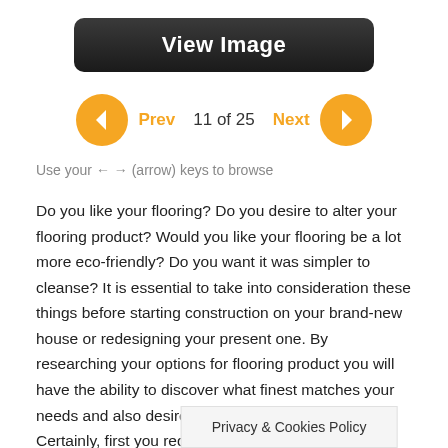[Figure (screenshot): View Image button — dark rounded rectangle with white bold text]
Prev  11 of 25  Next
Use your ← → (arrow) keys to browse
Do you like your flooring? Do you desire to alter your flooring product? Would you like your flooring be a lot more eco-friendly? Do you want it was simpler to cleanse? It is essential to take into consideration these things before starting construction on your brand-new house or redesigning your present one. By researching your options for flooring product you will have the ability to discover what finest matches your needs and also desires for your brand-new flooring. Certainly, first you require to find out what you want and needs. You can go with one kind of ceramic tile when you desire floor covering that is resilient as well as stunning. You can also blend rials as well. Together with your creative i hinking, you
Privacy & Cookies Policy